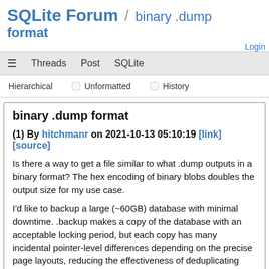SQLite Forum / binary .dump format
Login
≡  Threads  Post  SQLite
Hierarchical  □ Unformatted  □ History
binary .dump format
(1) By hitchmanr on 2021-10-13 05:10:19 [link] [source]
Is there a way to get a file similar to what .dump outputs in a binary format? The hex encoding of binary blobs doubles the output size for my use case.
I'd like to backup a large (~60GB) database with minimal downtime. .backup makes a copy of the database with an acceptable locking period, but each copy has many incidental pointer-level differences depending on the precise page layouts, reducing the effectiveness of deduplicating backup tools that match longer runs of content.